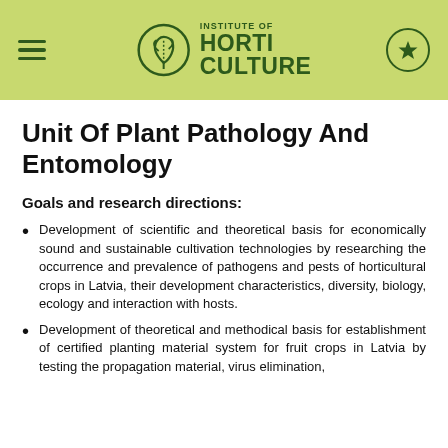Institute of Horticulture
Unit Of Plant Pathology And Entomology
Goals and research directions:
Development of scientific and theoretical basis for economically sound and sustainable cultivation technologies by researching the occurrence and prevalence of pathogens and pests of horticultural crops in Latvia, their development characteristics, diversity, biology, ecology and interaction with hosts.
Development of theoretical and methodical basis for establishment of certified planting material system for fruit crops in Latvia by testing the propagation material, virus elimination,